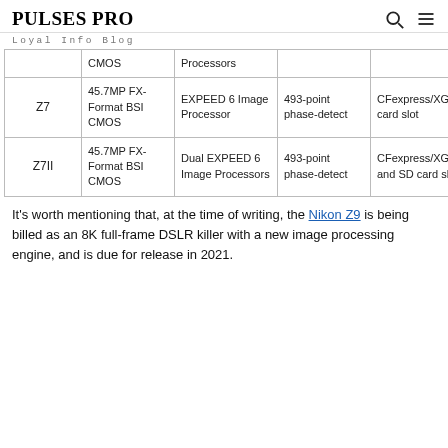PULSES PRO — Loyal Info Blog
| Camera | Sensor | Processor | Autofocus | Storage |
| --- | --- | --- | --- | --- |
|  | CMOS | Processors |  |  |
| Z7 | 45.7MP FX-Format BSI CMOS | EXPEED 6 Image Processor | 493-point phase-detect | CFexpress/XGD card slot |
| Z7II | 45.7MP FX-Format BSI CMOS | Dual EXPEED 6 Image Processors | 493-point phase-detect | CFexpress/XGD and SD card slots |
It's worth mentioning that, at the time of writing, the Nikon Z9 is being billed as an 8K full-frame DSLR killer with a new image processing engine, and is due for release in 2021.